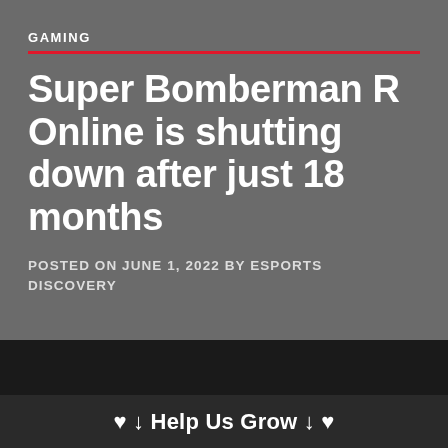GAMING
Super Bomberman R Online is shutting down after just 18 months
POSTED ON JUNE 1, 2022 BY ESPORTS DISCOVERY
♥ ↓ Help Us Grow ↓ ♥